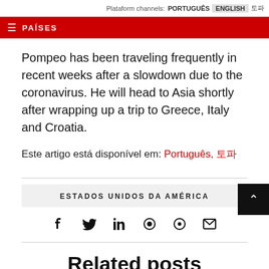Plataform channels: PORTUGUÊS ENGLISH 한국어
≡ PAÍSES
Pompeo has been traveling frequently in recent weeks after a slowdown due to the coronavirus. He will head to Asia shortly after wrapping up a trip to Greece, Italy and Croatia.
Este artigo está disponível em: Português, 한국어
ESTADOS UNIDOS DA AMÉRICA
Related posts